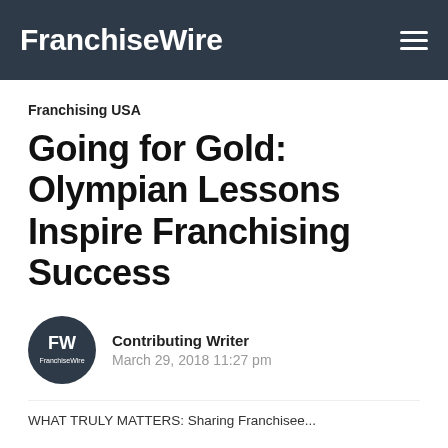FranchiseWire
Franchising USA
Going for Gold: Olympian Lessons Inspire Franchising Success
Contributing Writer
March 29, 2018 11:27 pm
WHAT TRULY MATTERS: Sharing Franchisee...